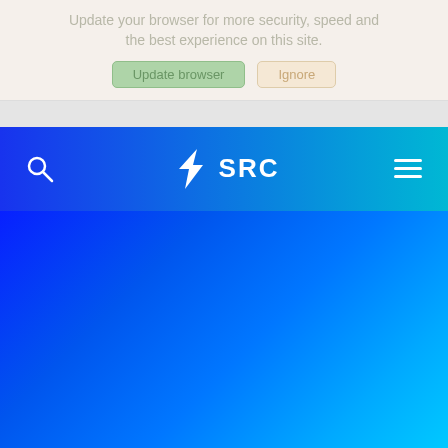Update your browser for more security, speed and the best experience on this site.
[Figure (screenshot): Browser update notification bar with 'Update browser' and 'Ignore' buttons]
[Figure (logo): SRC logo with stylized S lightning bolt icon and SRC text in white on blue gradient navigation bar]
[Figure (illustration): Blue gradient hero area background transitioning from deep blue on left to cyan on right]